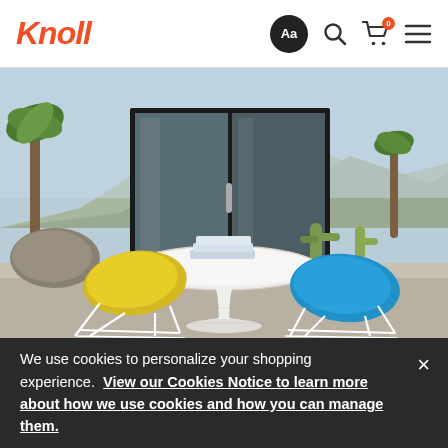Knoll — navigation bar with logo, font selector, search, cart (0), and menu icons
[Figure (photo): Outdoor patio scene with a white tulip pedestal table topped with stacked books, a yellow Bertoia-style wire chair on the left, a blue shell chair with wire base on the right, desert landscaping with cacti and palm trees in the background, viewed through large glass sliding doors]
We use cookies to personalize your shopping experience. View our Cookies Notice to learn more about how we use cookies and how you can manage them.